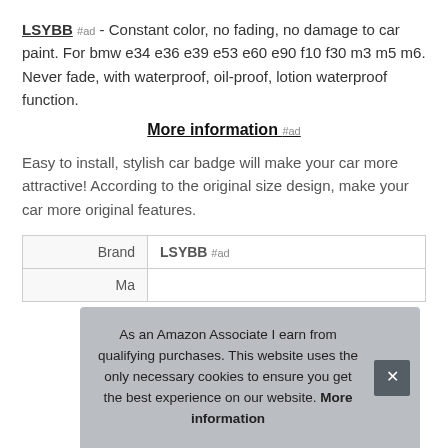LSYBB #ad - Constant color, no fading, no damage to car paint. For bmw e34 e36 e39 e53 e60 e90 f10 f30 m3 m5 m6. Never fade, with waterproof, oil-proof, lotion waterproof function.
More information #ad
Easy to install, stylish car badge will make your car more attractive! According to the original size design, make your car more original features.
| Brand | LSYBB #ad |
| Ma |  |
As an Amazon Associate I earn from qualifying purchases. This website uses the only necessary cookies to ensure you get the best experience on our website. More information